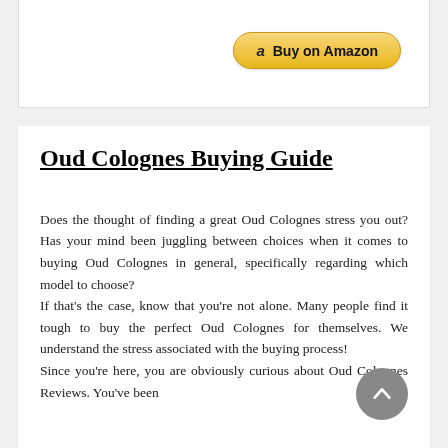[Figure (other): Amazon Buy button (golden rounded button with Amazon logo and 'Buy on Amazon' text)]
Oud Colognes Buying Guide
Does the thought of finding a great Oud Colognes stress you out? Has your mind been juggling between choices when it comes to buying Oud Colognes in general, specifically regarding which model to choose?
If that's the case, know that you're not alone. Many people find it tough to buy the perfect Oud Colognes for themselves. We understand the stress associated with the buying process!
Since you're here, you are obviously curious about Oud Colognes Reviews. You've been